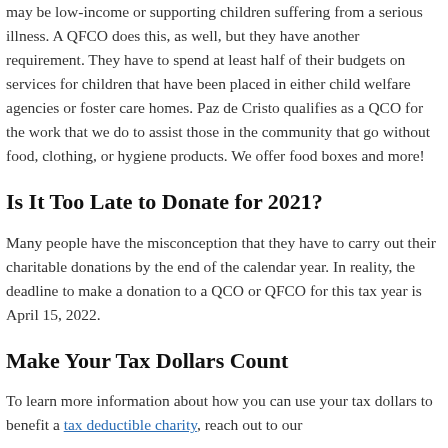may be low-income or supporting children suffering from a serious illness. A QFCO does this, as well, but they have another requirement. They have to spend at least half of their budgets on services for children that have been placed in either child welfare agencies or foster care homes. Paz de Cristo qualifies as a QCO for the work that we do to assist those in the community that go without food, clothing, or hygiene products. We offer food boxes and more!
Is It Too Late to Donate for 2021?
Many people have the misconception that they have to carry out their charitable donations by the end of the calendar year. In reality, the deadline to make a donation to a QCO or QFCO for this tax year is April 15, 2022.
Make Your Tax Dollars Count
To learn more information about how you can use your tax dollars to benefit a tax deductible charity, reach out to our